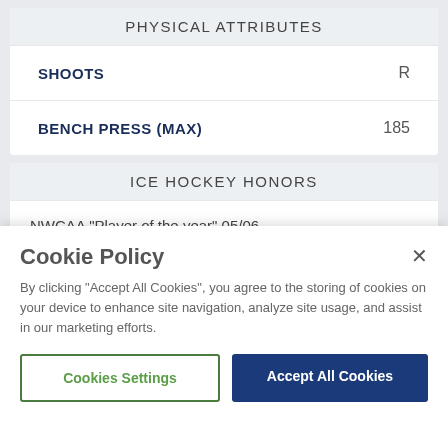PHYSICAL ATTRIBUTES
| SHOOTS | R |
| BENCH PRESS (MAX) | 185 |
ICE HOCKEY HONORS
NWCAA "Player of the year" 05/06
Cookie Policy
By clicking "Accept All Cookies", you agree to the storing of cookies on your device to enhance site navigation, analyze site usage, and assist in our marketing efforts.
Cookies Settings
Accept All Cookies